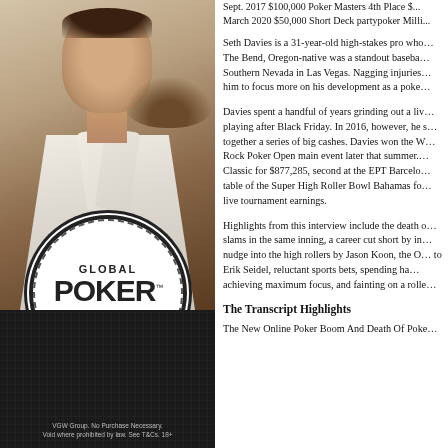[Figure (photo): Photo of Seth Davies, a young man with beard wearing a white shirt, with Global Poker logo overlay at bottom]
Sept. 2017 $100,000 Poker Masters 4th Place $... March 2020 $50,000 Short Deck partypoker Milli...
Seth Davies is a 31-year-old high-stakes pro who... The Bend, Oregon-native was a standout baseba... Southern Nevada in Las Vegas. Nagging injuries... him to focus more on his development as a poke...
Davies spent a handful of years grinding out a liv... playing after Black Friday. In 2016, however, he s... together a series of big cashes. Davies won the W... Rock Poker Open main event later that summer. ... Classic for $877,285, second at the EPT Barcelo... table of the Super High Roller Bowl Bahamas fo... live tournament earnings.
Highlights from this interview include the death o... slams in the same inning, a career cut short by in... nudge into the high rollers by Jason Koon, the O... to Erik Seidel, reluctant sports bets, spending ha... achieving maximum focus, and fainting on a rolle...
The Transcript Highlights
The New Online Poker Boom And Death Of Poke...